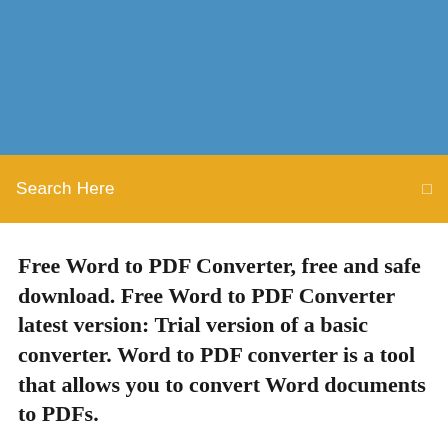[Figure (other): Blue header banner background]
Search Here
Free Word to PDF Converter, free and safe download. Free Word to PDF Converter latest version: Trial version of a basic converter. Word to PDF converter is a tool that allows you to convert Word documents to PDFs.
Learn how to convert PDF to Word in 5 simple steps with Adobe Acrobat DC. You can easily Word documents. Start with free trial